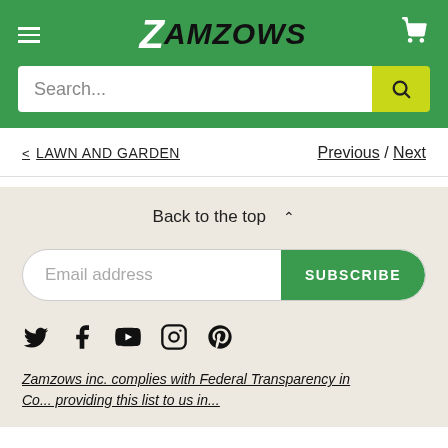[Figure (logo): Zamzows logo with stylized Z and hamburger menu on green header background]
[Figure (screenshot): Search bar with placeholder text 'Search...' and yellow search button on green background]
< LAWN AND GARDEN
Previous / Next
Back to the top ^
[Figure (screenshot): Email address input field with green SUBSCRIBE button]
[Figure (illustration): Social media icons: Twitter, Facebook, YouTube, Instagram, Pinterest]
Zamzows inc. complies with Federal Transparency in Co... providing this list to us in...